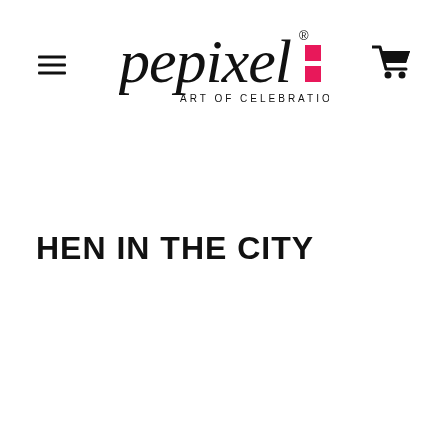pepixel ART OF CELEBRATION
HEN IN THE CITY